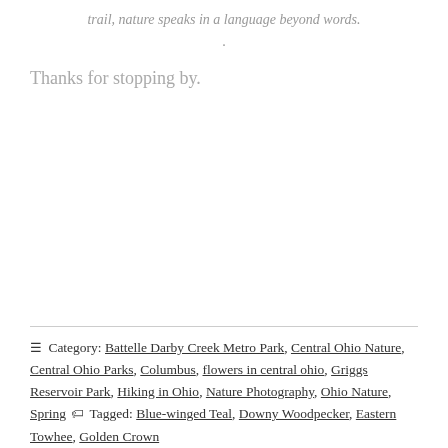trail, nature speaks in a language beyond words.
.
Thanks for stopping by.
☰ Category: Battelle Darby Creek Metro Park, Central Ohio Nature, Central Ohio Parks, Columbus, flowers in central ohio, Griggs Reservoir Park, Hiking in Ohio, Nature Photography, Ohio Nature, Spring 🏷 Tagged: Blue-winged Teal, Downy Woodpecker, Eastern Towhee, Golden Crown ...